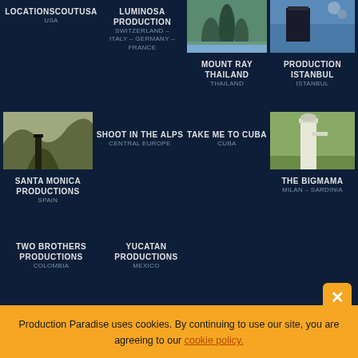[Figure (photo): Grid of location/production company listings with photos and text on dark navy background]
LOCATIONSCOUTUSA
USA
LUMINOSA PRODUCTION
SWITZERLAND - ITALY - GERMANY - FRANCE
[Figure (photo): Coastal rock formations in Thailand]
[Figure (photo): Man in tuxedo standing by water in Istanbul]
MOUNT RAY THAILAND
THAILAND
PRODUCTION ISTANBUL
ISTANBUL
[Figure (photo): Aerial view of winding mountain road in Spain]
SHOOT IN THE ALPS
CENTRAL EUROPE
TAKE ME TO CUBA
CUBA
[Figure (photo): Man in white outfit on golf course, Milan-Sardinia]
SANTA MONICA PRODUCTIONS
SPAIN
THE BIGMAMA
MILAN - SARDINIA
TWO BROTHERS PRODUCTIONS
COLOMBIA
YUCATAN PRODUCTIONS
MEXICO
Production Paradise uses cookies. By continuing to use our site, you are agreeing to our cookie policy.